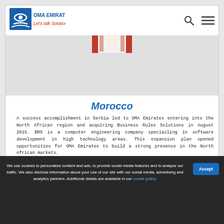[Figure (logo): OMA Emirates logo with tagline 'Let's talk Solutions']
[Figure (photo): Partial photo of a person wearing white clothing, cropped at top]
Morocco
A success accomplishment in Serbia led to OMA Emirates entering into the North African region and acquiring Business Rules Solutions in August 2015. BRS is a computer engineering company speciazling in software development in high technology areas. This expansion plan opened opportunities for OMA Emirates to build a strong presence in the North African markets.
We use cookies to personalise content and ads, to provide social media features and to analyse our traffic. We also disclose information about your use of our site with our social media, advertising and analytics partners. Additional details are available in our cookie policy.